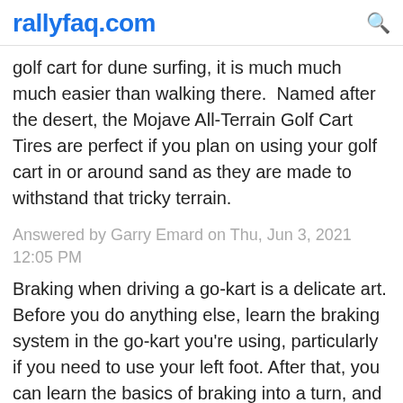rallyfaq.com
golf cart for dune surfing, it is much much much easier than walking there.  Named after the desert, the Mojave All-Terrain Golf Cart Tires are perfect if you plan on using your golf cart in or around sand as they are made to withstand that tricky terrain.
Answered by Garry Emard on Thu, Jun 3, 2021 12:05 PM
Braking when driving a go-kart is a delicate art. Before you do anything else, learn the braking system in the go-kart you're using, particularly if you need to use your left foot. After that, you can learn the basics of braking into a turn, and then move on to the more advanced trail braking, which gives you a slight advantage over other drivers.